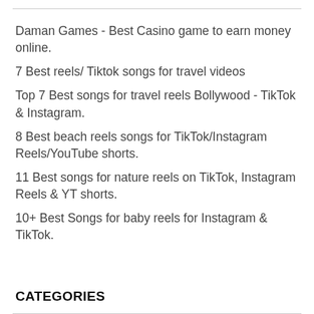Daman Games - Best Casino game to earn money online.
7 Best reels/ Tiktok songs for travel videos
Top 7 Best songs for travel reels Bollywood - TikTok & Instagram.
8 Best beach reels songs for TikTok/Instagram Reels/YouTube shorts.
11 Best songs for nature reels on TikTok, Instagram Reels & YT shorts.
10+ Best Songs for baby reels for Instagram & TikTok.
CATEGORIES